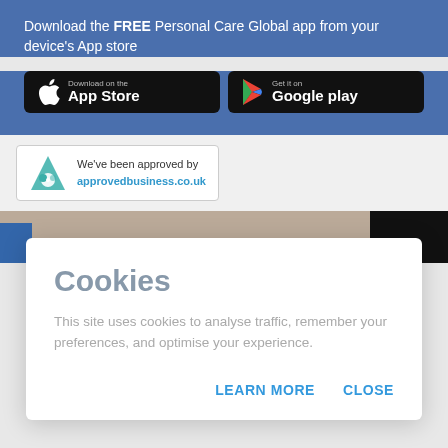Download the FREE Personal Care Global app from your device's App store
[Figure (screenshot): App Store and Google Play download buttons on blue background]
[Figure (logo): Approved Business badge: 'We've been approved by approvedbusiness.co.uk']
Cookies
This site uses cookies to analyse traffic, remember your preferences, and optimise your experience.
LEARN MORE   CLOSE